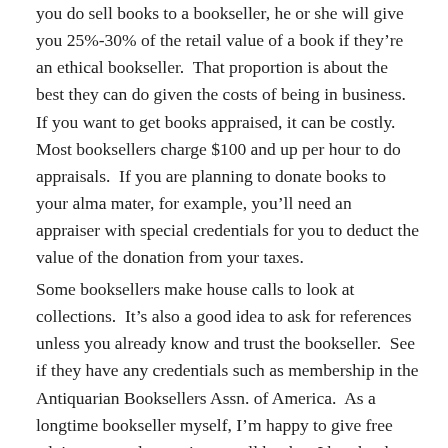you do sell books to a bookseller, he or she will give you 25%-30% of the retail value of a book if they're an ethical bookseller.  That proportion is about the best they can do given the costs of being in business. If you want to get books appraised, it can be costly.  Most booksellers charge $100 and up per hour to do appraisals.  If you are planning to donate books to your alma mater, for example, you'll need an appraiser with special credentials for you to deduct the value of the donation from your taxes.
Some booksellers make house calls to look at collections.  It's also a good idea to ask for references unless you already know and trust the bookseller.  See if they have any credentials such as membership in the Antiquarian Booksellers Assn. of America.  As a longtime bookseller myself, I'm happy to give free advice to people wanting to sell books.  I buy books